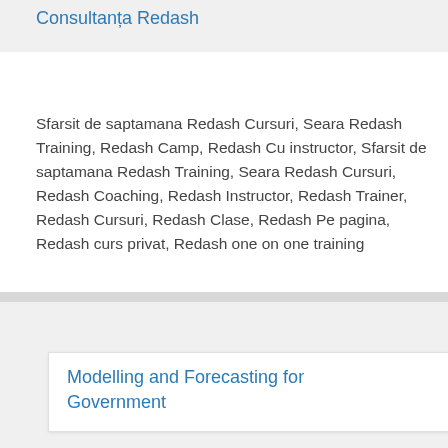Consultanța Redash
Sfarsit de saptamana Redash Cursuri, Seara Redash Training, Redash Camp, Redash Cu instructor, Sfarsit de saptamana Redash Training, Seara Redash Cursuri, Redash Coaching, Redash Instructor, Redash Trainer, Redash Cursuri, Redash Clase, Redash Pe pagina, Redash curs privat, Redash one on one training
Reduceri pentru cursuri
Modelling and Forecasting for Government